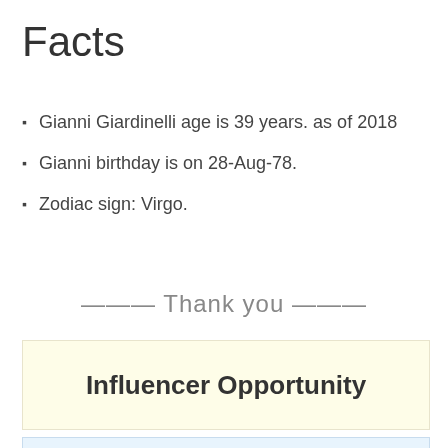Facts
Gianni Giardinelli age is 39 years. as of 2018
Gianni birthday is on 28-Aug-78.
Zodiac sign: Virgo.
——— Thank you ———
Influencer Opportunity